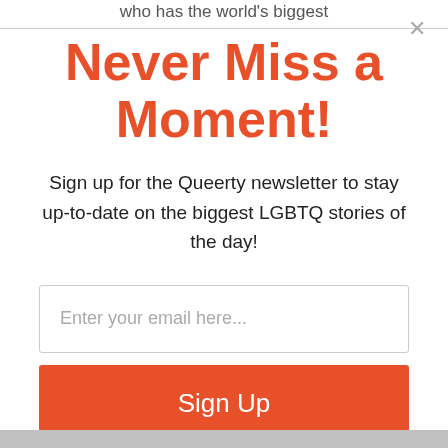who has the world's biggest
Never Miss a Moment!
Sign up for the Queerty newsletter to stay up-to-date on the biggest LGBTQ stories of the day!
Enter your email here...
Sign Up